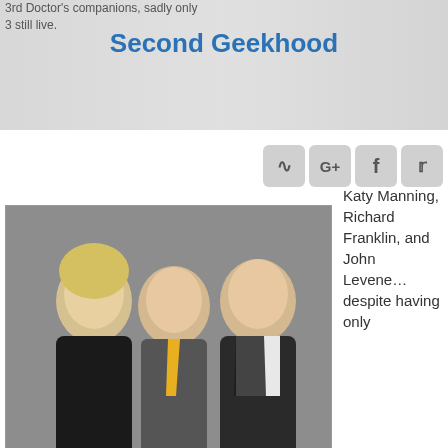3rd Doctor's companions, sadly only 3 still live.
Second Geekhood
[Figure (photo): Social media icons: RSS feed, Google+, Facebook, Twitter]
Katy Manning, Richard Franklin, and John Levene… despite having only
[Figure (photo): Three older people posing together smiling — two men and a woman with blonde hair]
these three left, an appearance by Jo Grant, Mike Yates, or Benton would still be great. Sadly with the passing of
[Figure (photo): Young man in light blue long-sleeve shirt]
[Figure (photo): TARDIS police box with people standing in front, labeled John D. Brewer]